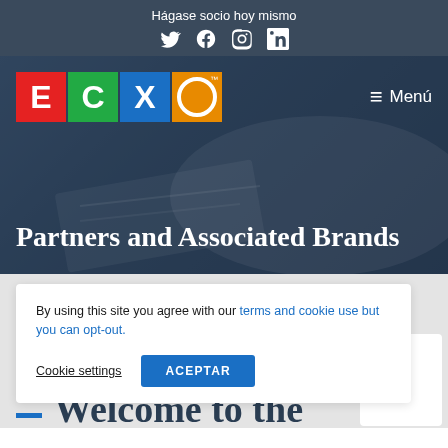Hágase socio hoy mismo
[Figure (logo): ECXO logo with four colored boxes: E (red), C (green), X (blue), O (orange circle) with TM mark]
≡ Menú
Partners and Associated Brands
By using this site you agree with our terms and cookie use but you can opt-out.
Cookie settings   ACEPTAR
Welcome to the